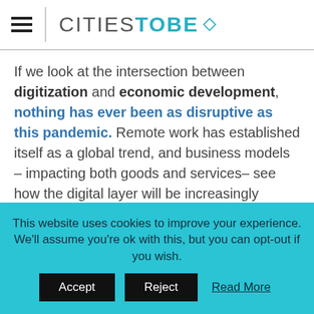CITIESTOBE
If we look at the intersection between digitization and economic development, nothing has ever been as disruptive as this pandemic. Remote work has established itself as a global trend, and business models – impacting both goods and services– see how the digital layer will be increasingly decisive. The world is getting virtual, and large global economic and business hubs, eminently linked to physical spaces and infrastructure, are...
This website uses cookies to improve your experience. We'll assume you're ok with this, but you can opt-out if you wish. Accept Reject Read More